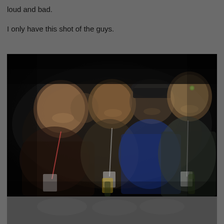loud and bad.
I only have this shot of the guys.
[Figure (photo): Dark nighttime photo of four men standing together smiling, wearing lanyards/badges, at what appears to be an outdoor event or concert. The photo is quite dark with a black background.]